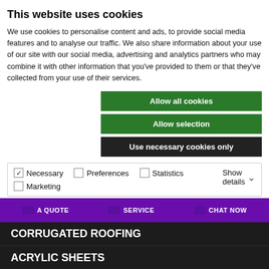This website uses cookies
We use cookies to personalise content and ads, to provide social media features and to analyse our traffic. We also share information about your use of our site with our social media, advertising and analytics partners who may combine it with other information that you've provided to them or that they've collected from your use of their services.
Allow all cookies
Allow selection
Use necessary cookies only
Necessary  Preferences  Statistics  Marketing  Show details
A QUOTE  SERVICE  CHAT NOW
CORRUGATED ROOFING
ACRYLIC SHEETS
POLYCARBONATE GREENHOUSES
CARPORTS AND CANOPIES